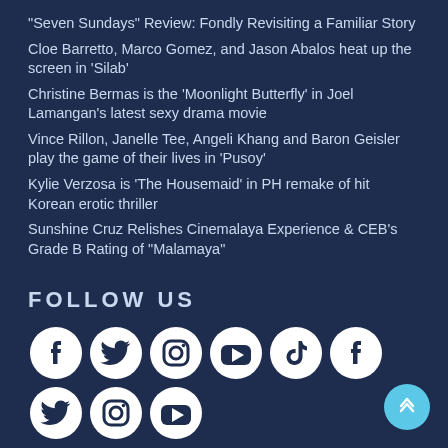“Seven Sundays” Review: Fondly Revisiting a Familiar Story
Cloe Barretto, Marco Gomez, and Jason Abalos heat up the screen in ‘Silab’
Christine Bermas is the ‘Moonlight Butterfly’ in Joel Lamangan’s latest sexy drama movie
Vince Rillon, Janelle Tee, Angeli Khang and Baron Geisler play the game of their lives in ‘Pusoy’
Kylie Verzosa is ‘The Housemaid’ in PH remake of hit Korean erotic thriller
Sunshine Cruz Relishes Cinemalaya Experience & CEB’s Grade B Rating of “Malamaya”
FOLLOW US
[Figure (infographic): Row of social media icons: Facebook, Twitter, Instagram, YouTube, TikTok, Facebook, Twitter, and partial Instagram, YouTube icons below]